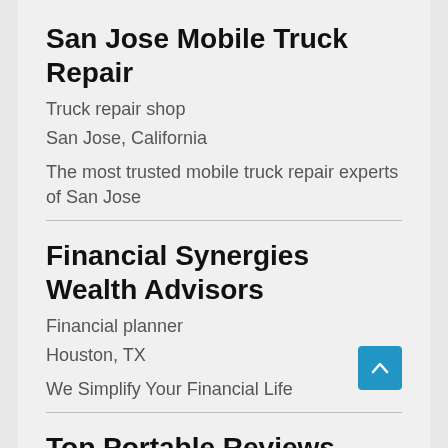San Jose Mobile Truck Repair
Truck repair shop
San Jose, California
The most trusted mobile truck repair experts of San Jose
Financial Synergies Wealth Advisors
Financial planner
Houston, TX
We Simplify Your Financial Life
Top Portable Reviews